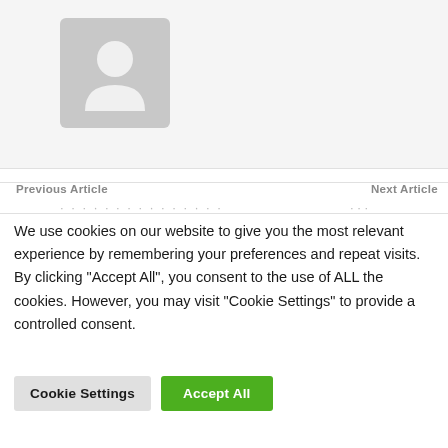[Figure (illustration): Gray placeholder avatar image with a person silhouette icon on a light gray background]
Previous Article
Next Article
We use cookies on our website to give you the most relevant experience by remembering your preferences and repeat visits. By clicking "Accept All", you consent to the use of ALL the cookies. However, you may visit "Cookie Settings" to provide a controlled consent.
Cookie Settings
Accept All